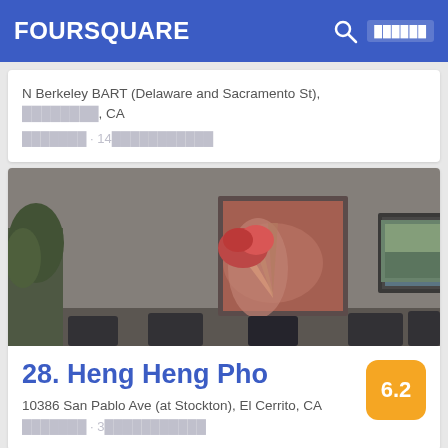FOURSQUARE
N Berkeley BART (Delaware and Sacramento St), ████████, CA
███████ · 14███████████
[Figure (photo): Restaurant interior photo showing three framed artworks hanging on a gray wall, with dark chairs visible in the foreground and a plant on the left]
28. Heng Heng Pho
10386 San Pablo Ave (at Stockton), El Cerrito, CA
███████ · 3███████████